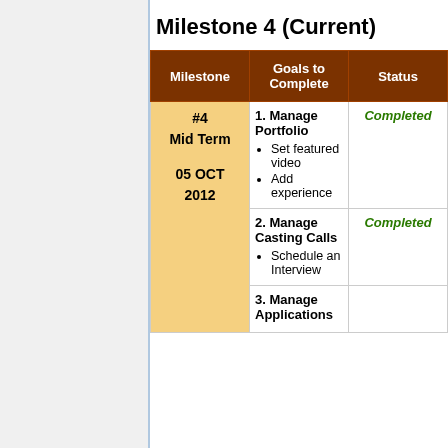Milestone 4 (Current)
| Milestone | Goals to Complete | Status |
| --- | --- | --- |
| #4 Mid Term

05 OCT 2012 | 1. Manage Portfolio
• Set featured video
• Add experience | Completed |
| #4 Mid Term

05 OCT 2012 | 2. Manage Casting Calls
• Schedule an Interview | Completed |
| #4 Mid Term

05 OCT 2012 | 3. Manage Applications |  |